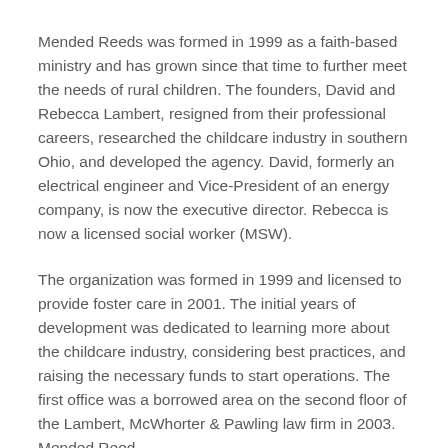Mended Reeds was formed in 1999 as a faith-based ministry and has grown since that time to further meet the needs of rural children.  The founders, David and Rebecca Lambert, resigned from their professional careers, researched the childcare industry in southern Ohio, and developed the agency.  David, formerly an electrical engineer and Vice-President of an energy company, is now the executive director.  Rebecca is now a licensed social worker (MSW).
The organization was formed in 1999 and licensed to provide foster care in 2001.  The initial years of development was dedicated to learning more about the childcare industry, considering best practices, and raising the necessary funds to start operations.  The first office was a borrowed area on the second floor of the Lambert, McWhorter & Pawling law firm in 2003.  Mended Reeds...